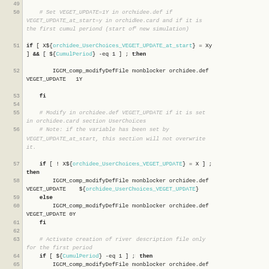[Figure (screenshot): Source code listing (shell script) showing lines 49-69, with line numbers in a beige column on the left and code on a light background on the right. Includes conditional logic for VEGET_UPDATE and RIVER_DESC settings in orchidee.def.]